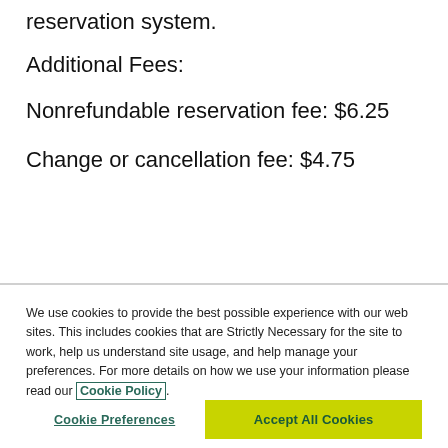reservation system.
Additional Fees:
Nonrefundable reservation fee: $6.25
Change or cancellation fee: $4.75
We use cookies to provide the best possible experience with our web sites. This includes cookies that are Strictly Necessary for the site to work, help us understand site usage, and help manage your preferences. For more details on how we use your information please read our Cookie Policy.
Cookie Preferences
Accept All Cookies